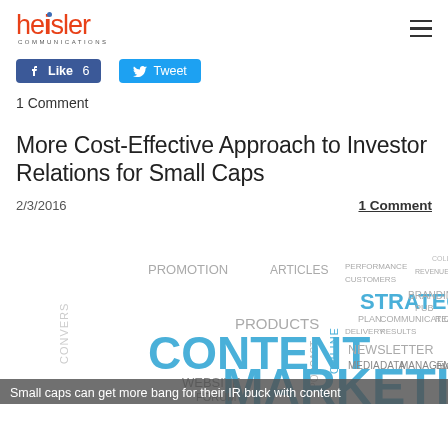heisler communications
Like 6   Tweet
1 Comment
More Cost-Effective Approach to Investor Relations for Small Caps
2/3/2016    1 Comment
[Figure (infographic): Word cloud featuring content marketing terms including CONTENT, MARKETING, STRATEGY, NEWSLETTER, PRODUCTS, WEBSITE, FORUM, ARTICLES, PROMOTION, BRANDING, COMMUNICATION, MEDIA, DATA, MANAGEMENT, BLOG, SEO, TRAFFIC, PUBLICATION, ONLINE, PODCAST, CONVERS, DATABASE, INFORMATION, FEED, PEOPLE, DELIVERY, RESULTS]
Small caps can get more bang for their IR buck with content